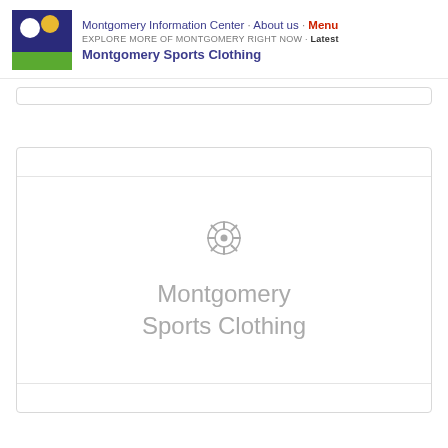Montgomery Information Center · About us · Menu
EXPLORE MORE OF MONTGOMERY RIGHT NOW · Latest
Montgomery Sports Clothing
[Figure (screenshot): Placeholder image card with camera/aperture icon and text 'Montgomery Sports Clothing' in gray on white background]